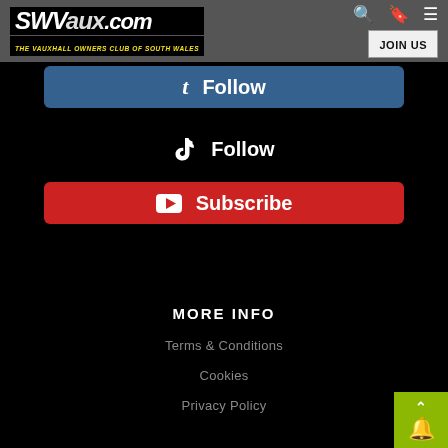[Figure (logo): SWVaux.com logo with tagline 'THE VAUXHALL OWNERS CLUB OF SOUTH WALES' in yellow italic text on black background]
[Figure (screenshot): Navigation bar with search icon, bookmark icon, hamburger menu, and JOIN US button]
Follow
Follow
Subscribe
MORE INFO
Terms & Conditions
Cookies
Privacy Policy